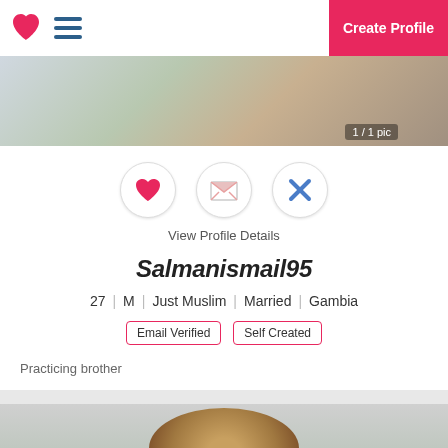Sign In | Create Profile
[Figure (photo): Top partial photo of a person at a desk, partially visible]
View Profile Details
Salmanismail95
27 | M | Just Muslim | Married | Gambia
Email Verified | Self Created
Practicing brother
[Figure (photo): Photo of a man smiling, wearing glasses and a suit]